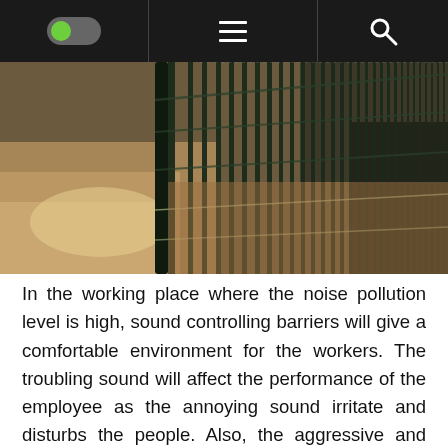[Navigation bar with toggle switch, hamburger menu, and search icon]
[Figure (photo): Close-up photograph of a dark green metal wire mesh fence/barrier, with a blurred sandy ground on both sides and trees in the background.]
In the working place where the noise pollution level is high, sound controlling barriers will give a comfortable environment for the workers. The troubling sound will affect the performance of the employee as the annoying sound irritate and disturbs the people. Also, the aggressive and depressed mood due to the